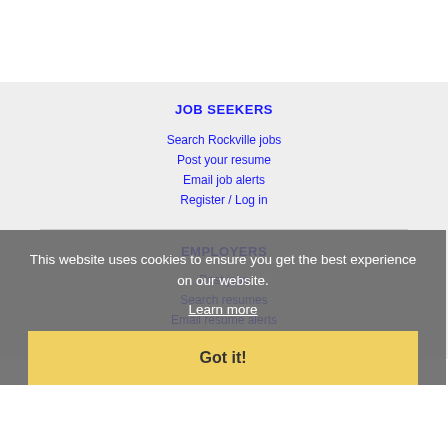JOB SEEKERS
Search Rockville jobs
Post your resume
Email job alerts
Register / Log in
EMPLOYERS
Post jobs
Search resumes
Email resume alerts
Advertise
This website uses cookies to ensure you get the best experience on our website.
Learn more
Got it!